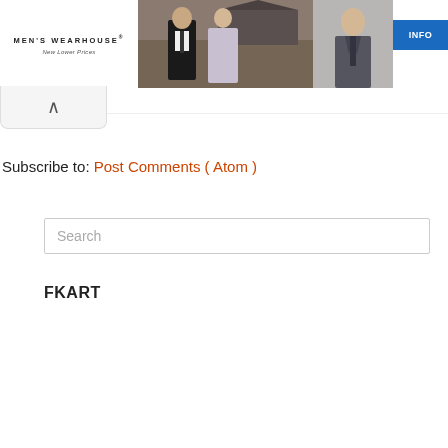[Figure (photo): Men's Wearhouse advertisement banner with logo, couple in formalwear, man in suit, and INFO button]
[Figure (screenshot): Ad controls bar with X close and play triangle icons]
[Figure (screenshot): Collapse/chevron up button tab]
Subscribe to: Post Comments ( Atom )
[Figure (screenshot): Search input box with placeholder text 'Search']
FKART